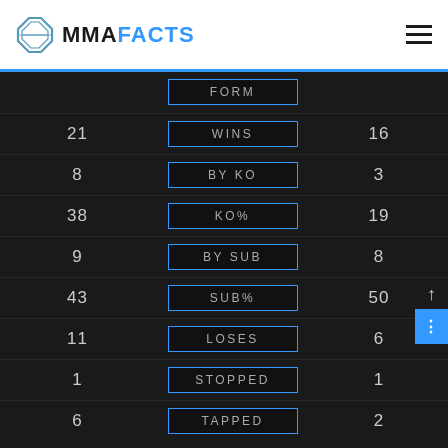MMA FACTS
|  | FORM |  |
| --- | --- | --- |
| 21 | WINS | 16 |
| 8 | BY KO | 3 |
| 38 | KO% | 19 |
| 9 | BY SUB | 8 |
| 43 | SUB% | 50 |
| 11 | LOSES | 6 |
| 1 | STOPPED | 1 |
| 6 | TAPPED | 2 |